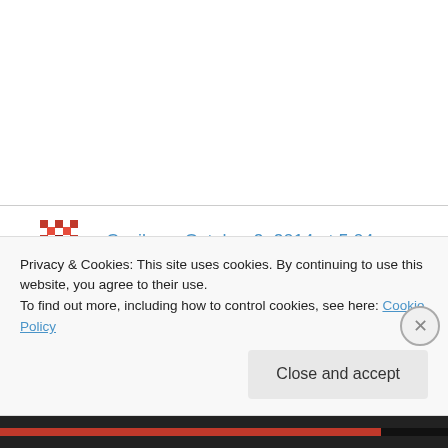[Figure (illustration): User avatar: red decorative snowflake/mosaic pattern icon]
Cecile on October 2, 2014 at 5:04 am
I absolutely love your blog and find a lot of your post's to be just what I'm looking for. Does one offer guest writers to write content in your case? I wouldn't mind creating a post or elaborating on a lot of the
Privacy & Cookies: This site uses cookies. By continuing to use this website, you agree to their use.
To find out more, including how to control cookies, see here: Cookie Policy
Close and accept